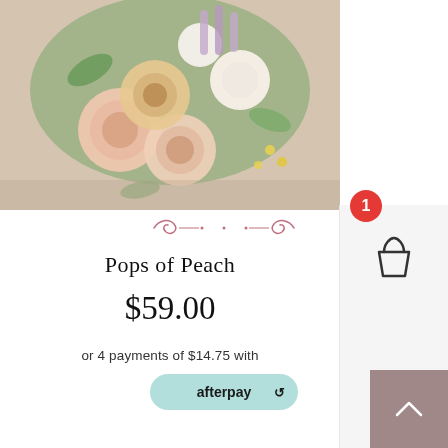[Figure (photo): A floral bouquet with peach roses, white flowers, green foliage, and purple accents photographed from above on a light wooden surface]
[Figure (infographic): Decorative pink/rose-colored swirl divider ornament]
Pops of Peach
$59.00
or 4 payments of $14.75 with
[Figure (logo): Afterpay logo on mint/teal rounded rectangle badge]